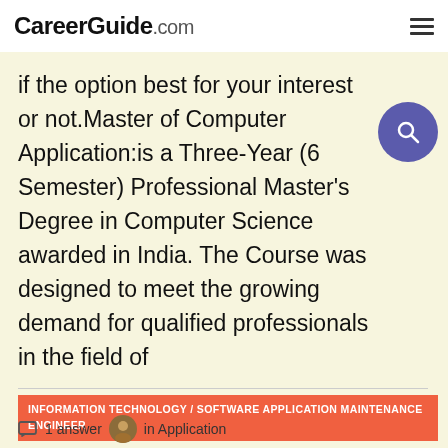CareerGuide.com
if the option best for your interest or not.Master of Computer Application:is a Three-Year (6 Semester) Professional Master's Degree in Computer Science awarded in India. The Course was designed to meet the growing demand for qualified professionals in the field of
INFORMATION TECHNOLOGY / SOFTWARE APPLICATION MAINTENANCE ENGINEER
1 answer  in Application